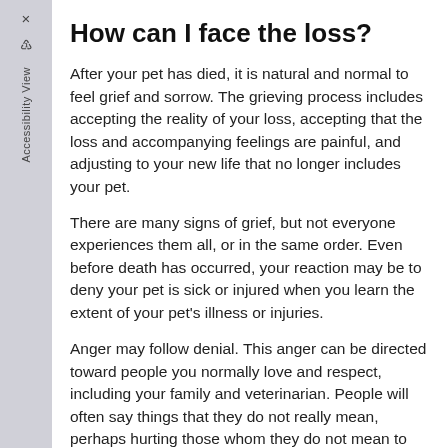How can I face the loss?
After your pet has died, it is natural and normal to feel grief and sorrow. The grieving process includes accepting the reality of your loss, accepting that the loss and accompanying feelings are painful, and adjusting to your new life that no longer includes your pet.
There are many signs of grief, but not everyone experiences them all, or in the same order. Even before death has occurred, your reaction may be to deny your pet is sick or injured when you learn the extent of your pet's illness or injuries.
Anger may follow denial. This anger can be directed toward people you normally love and respect, including your family and veterinarian. People will often say things that they do not really mean, perhaps hurting those whom they do not mean to hurt. You may blame yourself or others for not recognizing the illness earlier or for being careless